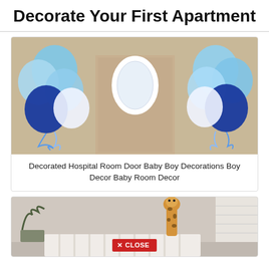Decorate Your First Apartment
[Figure (photo): Photo of a hospital room door decorated with blue, navy, and white balloons on both sides, with a white ornate frame on the door]
Decorated Hospital Room Door Baby Boy Decorations Boy Decor Baby Room Decor
[Figure (photo): Photo of a nursery room with a white crib, a giraffe stuffed animal peeking over, and a plant. A red close button is visible at the bottom center.]